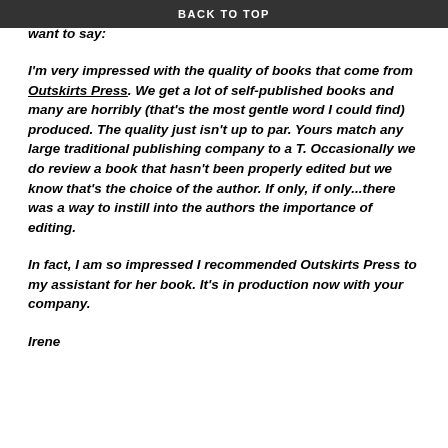BACK TO TOP
time but one busy day runs into the next one.  This is what I want to say:
I'm very impressed with the quality of books that come from Outskirts Press.  We get a lot of self-published books and many are horribly (that's the most gentle word I could find) produced. The quality just isn't up to par.  Yours match any large traditional publishing company to a T. Occasionally we do review a book that hasn't been properly edited but we know that's the choice of the author.  If only, if only...there was a way to instill into the authors the importance of editing.
In fact, I am so impressed I recommended Outskirts Press to my assistant for her book. It's in production now with your company.
Irene